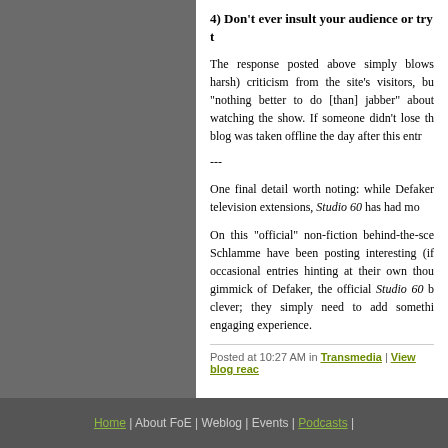4) Don't ever insult your audience or try t
The response posted above simply blows harsh) criticism from the site's visitors, bu "nothing better to do [than] jabber" about watching the show. If someone didn't lose th blog was taken offline the day after this entr
---
One final detail worth noting: while Defaker television extensions, Studio 60 has had mo
On this "official" non-fiction behind-the-sce Schlamme have been posting interesting (if occasional entries hinting at their own thou gimmick of Defaker, the official Studio 60 b clever; they simply need to add somethi engaging experience.
Posted at 10:27 AM in Transmedia | View blog reac
Home | About FoE | Weblog | Events | Podcasts |